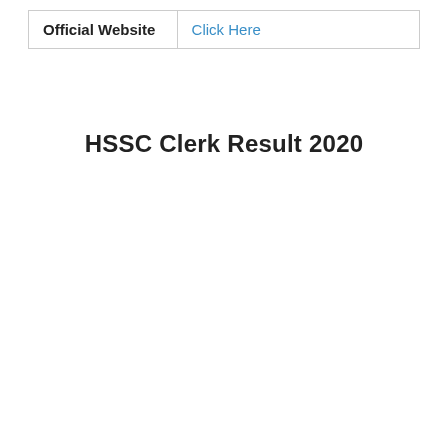| Official Website | Click Here |
| --- | --- |
HSSC Clerk Result 2020